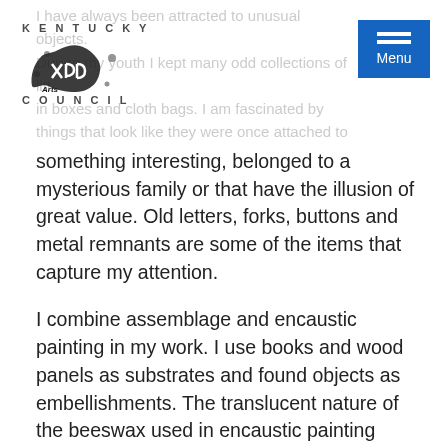Kentucky Arts Council — Menu header with logo and navigation
I have always been attracted to unusual objects. During my youth I kept many odd collections of little things in boxes and cloth bags. I am fascinated by things that look like they were once attached to something interesting, belonged to a mysterious family or that have the illusion of great value. Old letters, forks, buttons and metal remnants are some of the items that capture my attention.
I combine assemblage and encaustic painting in my work. I use books and wood panels as substrates and found objects as embellishments. The translucent nature of the beeswax used in encaustic painting allows me to generate layers of information in my artwork while maintaining a mysterious aspect. The resulting imagery has a dreamy and historical aura.